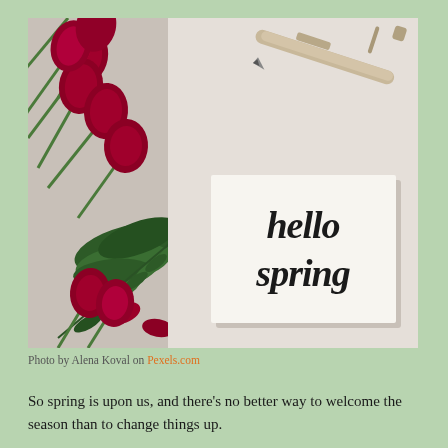[Figure (photo): A flat-lay photo showing red tulips and green foliage arranged on a light grey surface on the left, a fine-tip Micron pen resting at the top, and a white card in the center-right with hand-lettered calligraphy reading 'hello spring'.]
Photo by Alena Koval on Pexels.com
So spring is upon us, and there's no better way to welcome the season than to change things up.